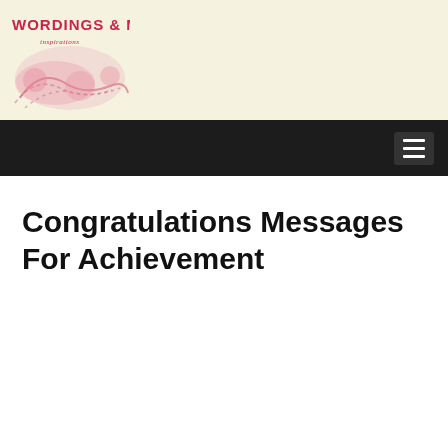Wordings & Messages
Congratulations Messages For Achievement